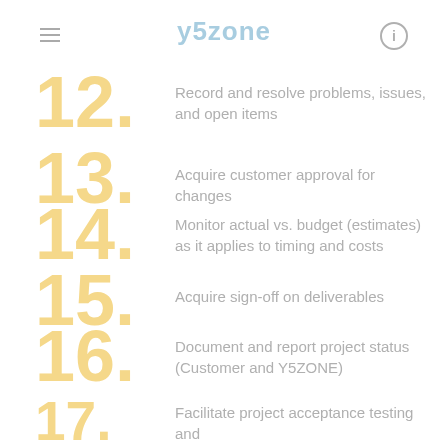y5zone
12. Record and resolve problems, issues, and open items
13. Acquire customer approval for changes
14. Monitor actual vs. budget (estimates) as it applies to timing and costs
15. Acquire sign-off on deliverables
16. Document and report project status (Customer and Y5ZONE)
17. Facilitate project acceptance testing and